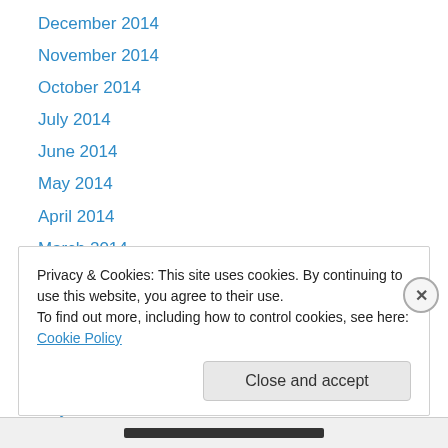December 2014
November 2014
October 2014
July 2014
June 2014
May 2014
April 2014
March 2014
February 2014
January 2014
December 2013
November 2013
July 2013
Privacy & Cookies: This site uses cookies. By continuing to use this website, you agree to their use.
To find out more, including how to control cookies, see here: Cookie Policy
Close and accept